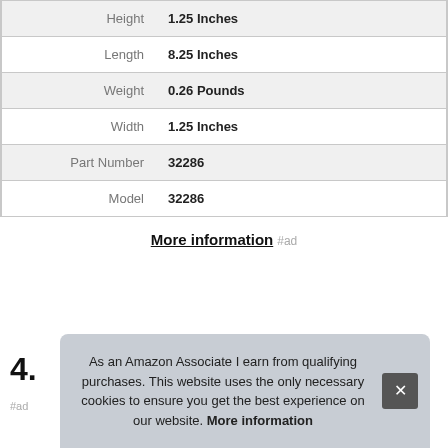| Attribute | Value |
| --- | --- |
| Height | 1.25 Inches |
| Length | 8.25 Inches |
| Weight | 0.26 Pounds |
| Width | 1.25 Inches |
| Part Number | 32286 |
| Model | 32286 |
More information #ad
4.
#ad
As an Amazon Associate I earn from qualifying purchases. This website uses the only necessary cookies to ensure you get the best experience on our website. More information